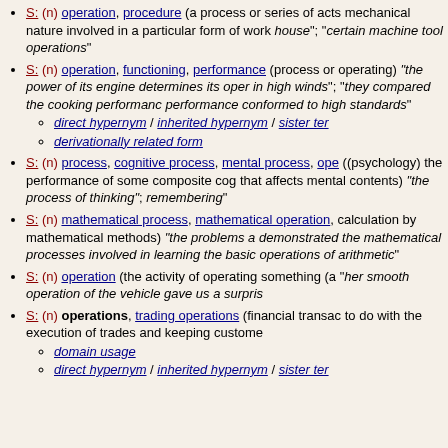S: (n) operation, procedure (a process or series of acts of a mechanical nature involved in a particular form of work) "house"; "certain machine tool operations"
S: (n) operation, functioning, performance (process or operating) "the power of its engine determines its oper... in high winds"; "they compared the cooking performance... performance conformed to high standards"
direct hypernym / inherited hypernym / sister term
derivationally related form
S: (n) process, cognitive process, mental process, ope... ((psychology) the performance of some composite cog... that affects mental contents) "the process of thinking";... remembering"
S: (n) mathematical process, mathematical operation, ... calculation by mathematical methods) "the problems a... demonstrated the mathematical processes involved in... learning the basic operations of arithmetic"
S: (n) operation (the activity of operating something (a... "her smooth operation of the vehicle gave us a surpris...
S: (n) operations, trading operations (financial transac... to do with the execution of trades and keeping custome...
domain usage
direct hypernym / inherited hypernym / sister term